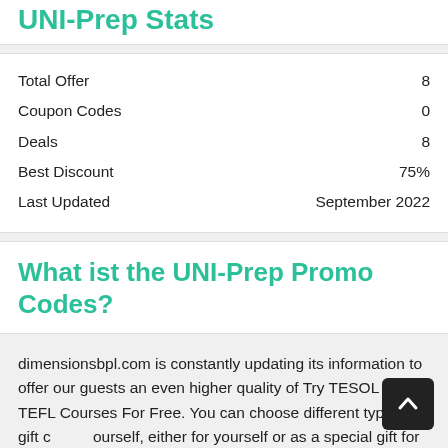UNI-Prep Stats
|  |  |
| --- | --- |
| Total Offer | 8 |
| Coupon Codes | 0 |
| Deals | 8 |
| Best Discount | 75% |
| Last Updated | September 2022 |
What ist the UNI-Prep Promo Codes?
dimensionsbpl.com is constantly updating its information to offer our guests an even higher quality of Try TESOL & TEFL Courses For Free. You can choose different types of gift cards yourself, either for yourself or as a special gift for your loved ones. You can easily become an online shopping guru or buy the products you need at the best prices. If you come across a great product and want to buy it, don't hesitate to place your order now. dimensionsbpl.com offers you many shopping options, along with savings, with promo codes and vouchers.